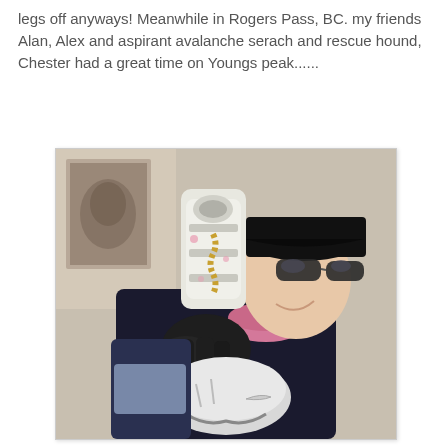legs off anyways! Meanwhile in Rogers Pass, BC. my friends Alan, Alex and aspirant avalanche serach and rescue hound, Chester had a great time on Youngs peak......
[Figure (photo): A person wearing a black jacket, black cap, sunglasses, and a pink neck gaiter, holding ski equipment including gloves and a white ski boot/binding assembly, outdoors in a winter mountain setting.]